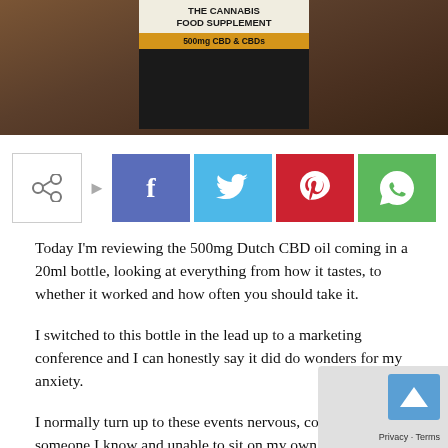[Figure (photo): Photo of a cannabis food supplement bottle labeled 'THE CANNABIS FOOD SUPPLEMENT 500mg CBD & CBDs' on a dark wooden surface background]
[Figure (infographic): Social sharing buttons row: share icon, Facebook (blue), Twitter (cyan), Pinterest (red), WhatsApp (green)]
Today I'm reviewing the 500mg Dutch CBD oil coming in a 20ml bottle, looking at everything from how it tastes, to whether it worked and how often you should take it.
I switched to this bottle in the lead up to a marketing conference and I can honestly say it did do wonders for my anxiety.
I normally turn up to these events nervous, constantly l for someone I know and unable to sit on my own in the without feeling silly.